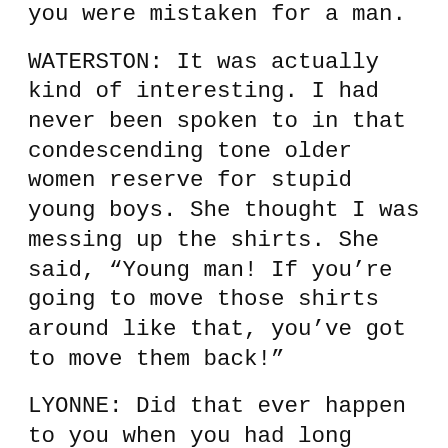you were mistaken for a man.
WATERSTON: It was actually kind of interesting. I had never been spoken to in that condescending tone older women reserve for stupid young boys. She thought I was messing up the shirts. She said, “Young man! If you’re going to move those shirts around like that, you’ve got to move them back!”
LYONNE: Did that ever happen to you when you had long hair?
WATERSTON: [laughs] It happens more with the short hair. I mean, I’m a big girl, you know?